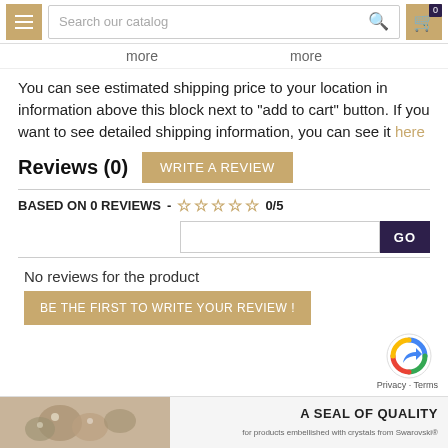Search our catalog | 0 items in cart
more  more
You can see estimated shipping price to your location in information above this block next to "add to cart" button. If you want to see detailed shipping information, you can see it here
Reviews (0)
BASED ON 0 REVIEWS - ☆☆☆☆☆ 0/5
No reviews for the product
BE THE FIRST TO WRITE YOUR REVIEW !
[Figure (logo): reCAPTCHA logo with Privacy and Terms links]
[Figure (photo): Jewelry/crystals image with A SEAL OF QUALITY text for Swarovski]